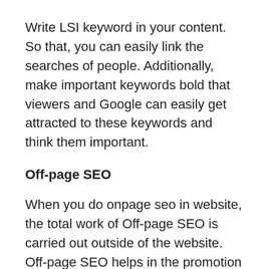Write LSI keyword in your content. So that, you can easily link the searches of people. Additionally, make important keywords bold that viewers and Google can easily get attracted to these keywords and think them important.
Off-page SEO
When you do onpage seo in website, the total work of Off-page SEO is carried out outside of the website. Off-page SEO helps in the promotion of the website in which we have to comment on articles of popular blogs. We have to give the links of our website in comments which are called backlinks.